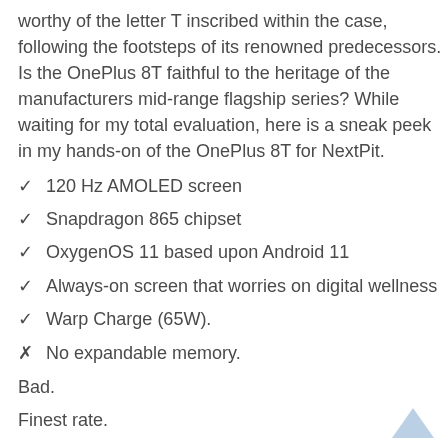worthy of the letter T inscribed within the case, following the footsteps of its renowned predecessors. Is the OnePlus 8T faithful to the heritage of the manufacturers mid-range flagship series? While waiting for my total evaluation, here is a sneak peek in my hands-on of the OnePlus 8T for NextPit.
✓ 120 Hz AMOLED screen
✓ Snapdragon 865 chipset
✓ OxygenOS 11 based upon Android 11
✓ Always-on screen that worries on digital wellness
✓ Warp Charge (65W).
✗ No expandable memory.
Bad.
Finest rate.